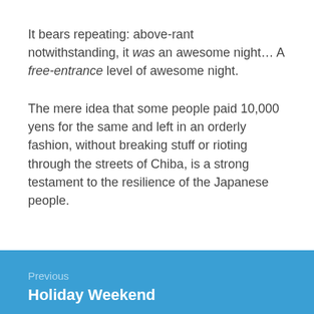It bears repeating: above-rant notwithstanding, it was an awesome night… A free-entrance level of awesome night.
The mere idea that some people paid 10,000 yens for the same and left in an orderly fashion, without breaking stuff or rioting through the streets of Chiba, is a strong testament to the resilience of the Japanese people.
Previous
Holiday Weekend
Next